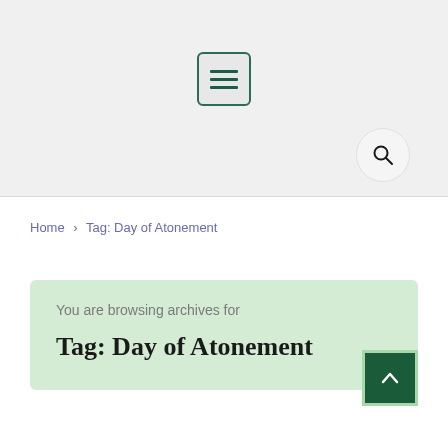[Figure (screenshot): Website header area with hamburger menu icon button (three horizontal bars in a rounded rectangle with teal border) centered, and a circular search button icon (magnifying glass) in the lower right of the header. Background is light gray.]
Home > Tag: Day of Atonement
You are browsing archives for
Tag: Day of Atonement